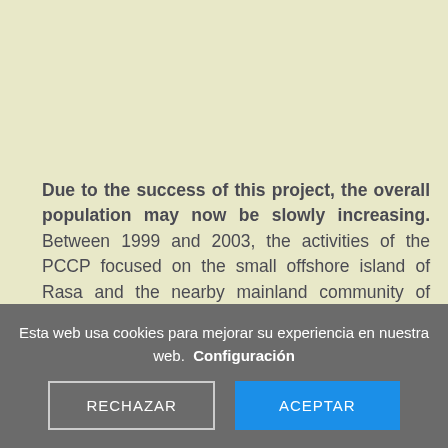Due to the success of this project, the overall population may now be slowly increasing. Between 1999 and 2003, the activities of the PCCP focused on the small offshore island of Rasa and the nearby mainland community of Narra in eastern
Esta web usa cookies para mejorar su experiencia en nuestra web. Configuración
RECHAZAR
ACEPTAR